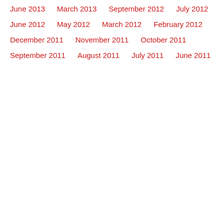June 2013
March 2013
September 2012
July 2012
June 2012
May 2012
March 2012
February 2012
December 2011
November 2011
October 2011
September 2011
August 2011
July 2011
June 2011